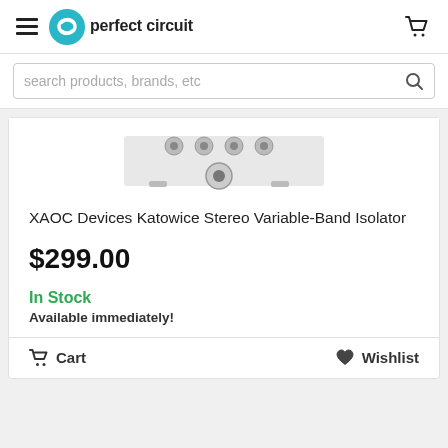Perfect Circuit
[Figure (screenshot): Search bar with placeholder text: search products, brands, etc]
[Figure (photo): Partial product image of XAOC Devices Katowice Stereo Variable-Band Isolator module showing knobs and controls]
XAOC Devices Katowice Stereo Variable-Band Isolator
$299.00
In Stock
Available immediately!
Cart  Wishlist